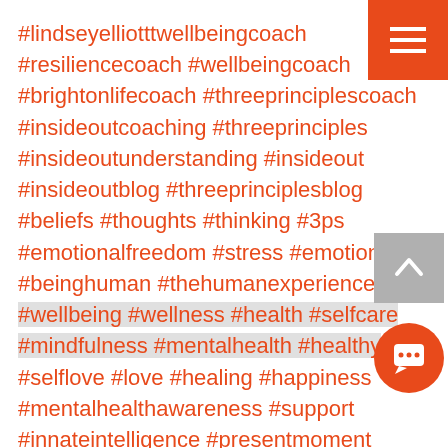#lindseyelliotttwellbeingcoach #resiliencecoach #wellbeingcoach #brightonlifecoach #threeprinciplescoach #insideoutcoaching #threeprinciples #insideoutunderstanding #insideout #insideoutblog #threeprinciplesblog #beliefs #thoughts #thinking #3ps #emotionalfreedom #stress #emotions #beinghuman #thehumanexperience #wellbeing #wellness #health #selfcare #mindfulness #mentalhealth #healthy #selflove #love #healing #happiness #mentalhealthawareness #support #innateintelligence #presentmoment #present #sydneybanks #anxiety #anxious #anxietyhelp #anxietyrelief #anxietysupport #fear #healthofear